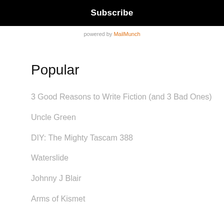Subscribe
powered by MailMunch
Popular
3 Good Reasons to Write Fiction (and 3 Bad Ones)
Uncle Green
DIY: The Mighty Tascam 388
Waterslide
Johnny J Blair
Arms of Kismet